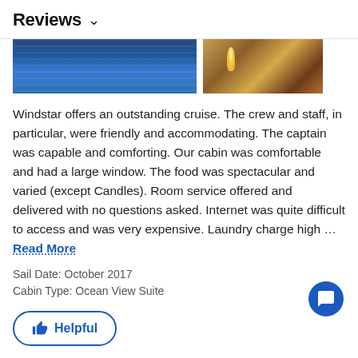Reviews ∨
[Figure (photo): Two photos side by side: left shows open ocean with blue water, right shows candlelit dining scene]
Windstar offers an outstanding cruise. The crew and staff, in particular, were friendly and accommodating. The captain was capable and comforting. Our cabin was comfortable and had a large window. The food was spectacular and varied (except Candles). Room service offered and delivered with no questions asked. Internet was quite difficult to access and was very expensive. Laundry charge high … Read More
Sail Date: October 2017
Cabin Type: Ocean View Suite
Helpful